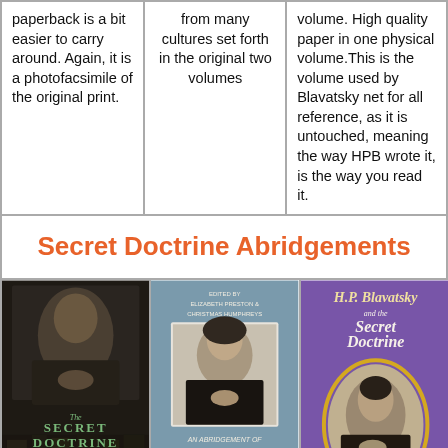paperback is a bit easier to carry around. Again, it is a photofacsimile of the original print.
from many cultures set forth in the original two volumes
volume. High quality paper in one physical volume.This is the volume used by Blavatsky net for all reference, as it is untouched, meaning the way HPB wrote it, is the way you read it.
Secret Doctrine Abridgements
[Figure (photo): Book cover of The Secret Doctrine by H.P. Blavatsky, with Michael Gomes foreword. Dark cover with portrait of Blavatsky.]
[Figure (photo): Book cover: An Abridgement of The Secret Doctrine by H.P. Blavatsky, edited by Elizabeth Preston & Christmas Humphreys. Blue-gray cover with portrait.]
[Figure (photo): Book cover: H.P. Blavatsky and the Secret Doctrine, edited by Virginia Hanson. Purple cover with portrait of Blavatsky in oval frame.]